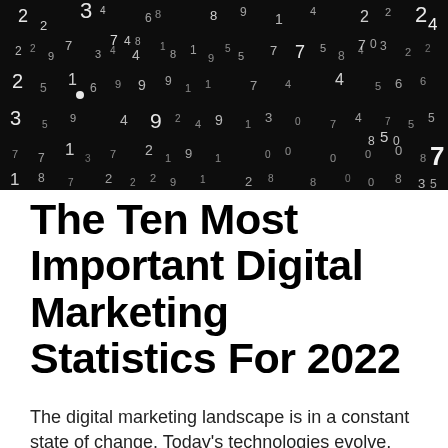[Figure (photo): Dark black background with white numbers and digits scattered randomly across the entire image, resembling a matrix of floating numbers.]
The Ten Most Important Digital Marketing Statistics For 2022
The digital marketing landscape is in a constant state of change. Today's technologies evolve, and